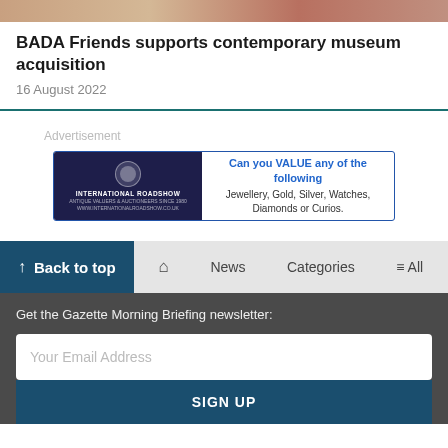[Figure (photo): Top image strip showing partial photo of people or artwork]
BADA Friends supports contemporary museum acquisition
16 August 2022
Advertisement
[Figure (other): Advertisement banner for International Roadshow: 'Can you VALUE any of the following – Jewellery, Gold, Silver, Watches, Diamonds or Curios.']
↑ Back to top  🏠  News  Categories  ≡ All
Get the Gazette Morning Briefing newsletter:
Your Email Address
SIGN UP